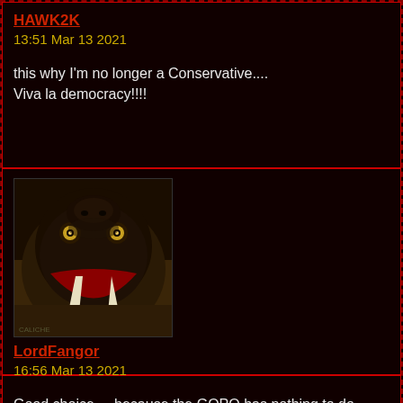HAWK2K
13:51 Mar 13 2021
this why I'm no longer a Conservative....
Viva la democracy!!!!
[Figure (photo): Close-up photo of a snake with open mouth showing fangs, viewed from front]
LordFangor
16:56 Mar 13 2021
Good choice.... because the GOPQ has nothing to do with democracy :)